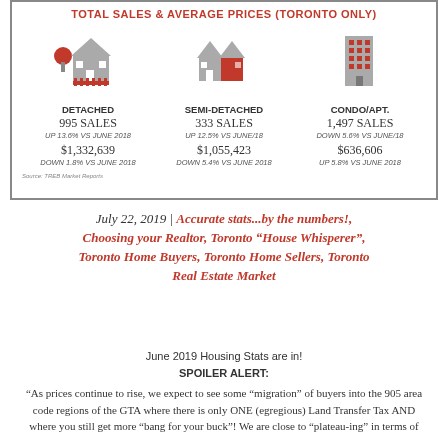[Figure (infographic): Infographic showing Total Sales & Average Prices for Toronto only, with three property types: Detached (995 Sales, up 13.6% vs June 2018, $1,332,639, down 1.8% vs June 2018), Semi-Detached (333 Sales, up 12.5% vs June/18, $1,055,423, down 5.4% vs June 2018), Condo/Apt. (1,497 Sales, down 5.6% vs June/18, $636,606, up 5.8% vs June 2018)]
Source: TREB Market Reports
July 22, 2019 | Accurate stats...by the numbers!, Choosing your Realtor, Toronto "House Whisperer", Toronto Home Buyers, Toronto Home Sellers, Toronto Real Estate Market
June 2019 Housing Stats are in!
SPOILER ALERT:
“As prices continue to rise, we expect to see some “migration” of buyers into the 905 area code regions of the GTA where there is only ONE (egregious) Land Transfer Tax AND where you still get more “bang for your buck”! We are close to “plateau-ing” in terms of